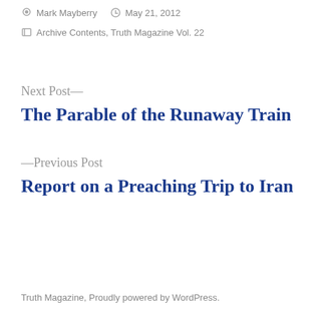Mark Mayberry   May 21, 2012
Archive Contents, Truth Magazine Vol. 22
Next Post—
The Parable of the Runaway Train
—Previous Post
Report on a Preaching Trip to Iran
Truth Magazine, Proudly powered by WordPress.